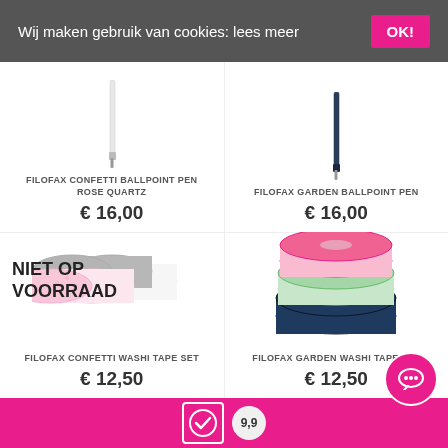Wij maken gebruik van cookies: lees meer
OK!
FILOFAX CONFETTI BALLPOINT PEN ROSE QUARTZ
€ 16,00
FILOFAX GARDEN BALLPOINT PEN
€ 16,00
[Figure (photo): Filofax Confetti Washi Tape Set rolls stacked, pink and black and grey patterned tapes, with NIET OP VOORRAAD overlay]
NIET OP VOORRAAD
FILOFAX CONFETTI WASHI TAPE SET
€ 12,50
[Figure (photo): Filofax Garden Washi Tape Set rolls stacked, pink floral, teal botanical, dark navy tapes]
FILOFAX GARDEN WASHI TAPE SET
€ 12,50
[Figure (logo): Green check mark rating badge and 9,9 rating circle at bottom, pink OK button for chat widget]